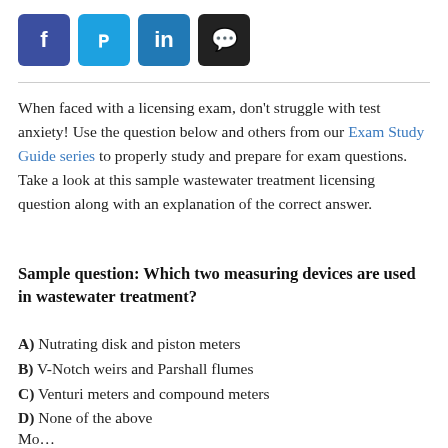[Figure (other): Social sharing buttons: Facebook (blue), Twitter (light blue), LinkedIn (blue), Comment (black)]
When faced with a licensing exam, don't struggle with test anxiety! Use the question below and others from our Exam Study Guide series to properly study and prepare for exam questions. Take a look at this sample wastewater treatment licensing question along with an explanation of the correct answer.
Sample question: Which two measuring devices are used in wastewater treatment?
A) Nutrating disk and piston meters
B) V-Notch weirs and Parshall flumes
C) Venturi meters and compound meters
D) None of the above
More beginning text continues at the bottom (cut off)